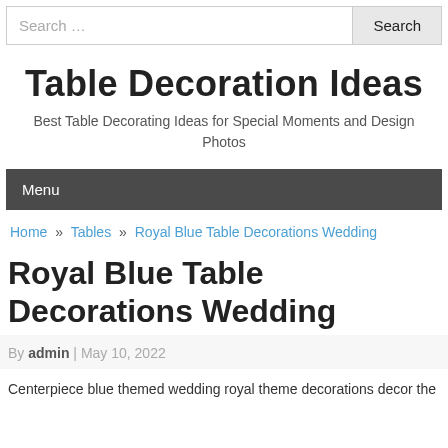Search …  Search
Table Decoration Ideas
Best Table Decorating Ideas for Special Moments and Design Photos
Menu
Home » Tables » Royal Blue Table Decorations Wedding
Royal Blue Table Decorations Wedding
By admin | May 10, 2022
Centerpiece blue themed wedding royal theme decorations decor the